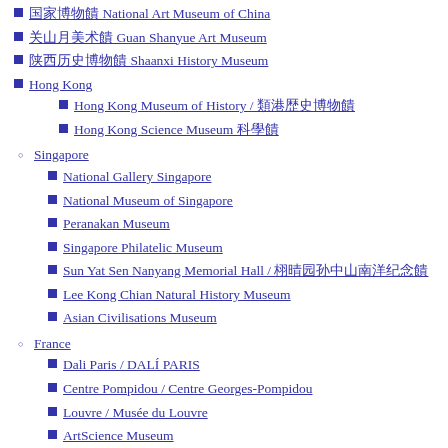国家博物馆 National Art Museum of China
关山月美术馆 Guan Shanyue Art Museum
陕西历史博物馆 Shaanxi History Museum
Hong Kong
Hong Kong Museum of History / 香港歷史博物館
Hong Kong Science Museum 科學館
Singapore
National Gallery Singapore
National Museum of Singapore
Peranakan Museum
Singapore Philatelic Museum
Sun Yat Sen Nanyang Memorial Hall / 晚晴园孙中山南洋纪念馆
Lee Kong Chian Natural History Museum
Asian Civilisations Museum
France
Dali Paris / DALÍ PARIS
Centre Pompidou / Centre Georges-Pompidou
Louvre / Musée du Louvre
ArtScience Museum
Orsay Museum / Musée d'Orsay
Russia
Aurora Cruiser / Крейсер Аврора
The State Historical Museum / Государственный исторический музей
Faberge Museum / Fabergé Museum
Moscow Kremlin / Московский Кремль
Museum of Cosmonautics / Музей космонавтики,
Museum of Fine Arts. A.S. Pushkin / Музей изобразительных искусств им. А.С. Пушкина